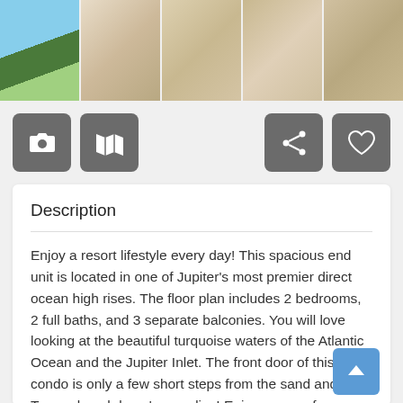[Figure (photo): Strip of 5 property photos showing exterior/interior of a beachfront condo building]
[Figure (infographic): Row of icon buttons: camera, map, share, and heart/favorite icons]
Description
Enjoy a resort lifestyle every day! This spacious end unit is located in one of Jupiter's most premier direct ocean high rises. The floor plan includes 2 bedrooms, 2 full baths, and 3 separate balconies. You will love looking at the beautiful turquoise waters of the Atlantic Ocean and the Jupiter Inlet. The front door of this condo is only a few short steps from the sand and surf! They a beach lover's paradise! Enjoy peace of